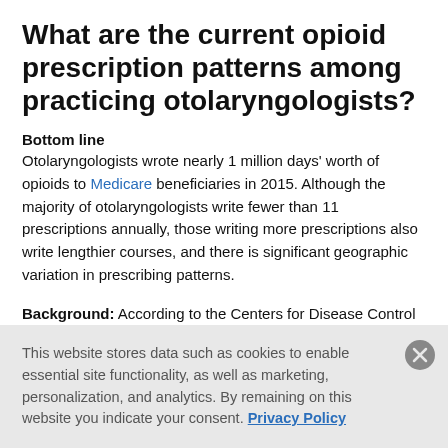What are the current opioid prescription patterns among practicing otolaryngologists?
Bottom line
Otolaryngologists wrote nearly 1 million days' worth of opioids to Medicare beneficiaries in 2015. Although the majority of otolaryngologists write fewer than 11 prescriptions annually, those writing more prescriptions also write lengthier courses, and there is significant geographic variation in prescribing patterns.
Background: According to the Centers for Disease Control
This website stores data such as cookies to enable essential site functionality, as well as marketing, personalization, and analytics. By remaining on this website you indicate your consent. Privacy Policy